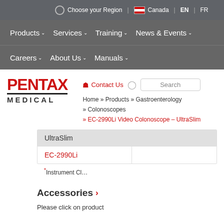Choose your Region | Canada | EN | FR
Products ∨   Services ∨   Training ∨   News & Events ∨
Careers ∨   About Us ∨   Manuals ∨
[Figure (logo): PENTAX MEDICAL logo in red and black]
Contact Us
Search
Home » Products » Gastroenterology » Colonoscopes » EC-2990Li Video Colonoscope – UltraSlim
| UltraSlim |  |
| --- | --- |
| EC-2990Li |  |
*Instrument Cl...
Accessories >
Please click on product